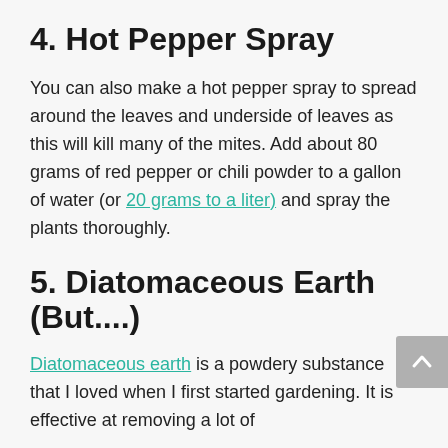4. Hot Pepper Spray
You can also make a hot pepper spray to spread around the leaves and underside of leaves as this will kill many of the mites. Add about 80 grams of red pepper or chili powder to a gallon of water (or 20 grams to a liter) and spray the plants thoroughly.
5. Diatomaceous Earth (But....)
Diatomaceous earth is a powdery substance that I loved when I first started gardening. It is effective at removing a lot of